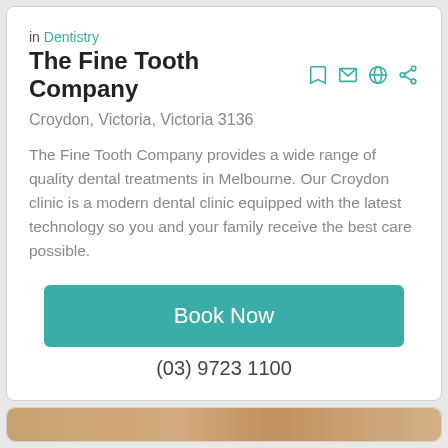in Dentistry
The Fine Tooth Company
Croydon, Victoria, Victoria 3136
The Fine Tooth Company provides a wide range of quality dental treatments in Melbourne. Our Croydon clinic is a modern dental clinic equipped with the latest technology so you and your family receive the best care possible.
Book Now
(03) 9723 1100
[Figure (photo): Close-up photo of a person's face, showing eyes and forehead area]